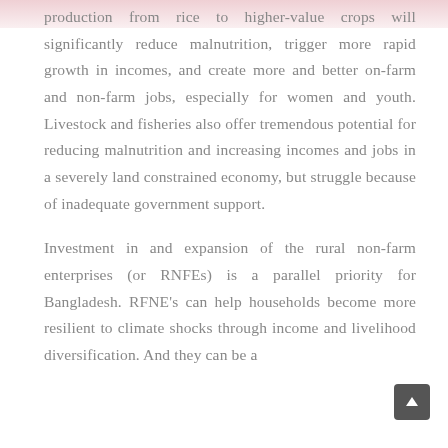production from rice to higher-value crops will significantly reduce malnutrition, trigger more rapid growth in incomes, and create more and better on-farm and non-farm jobs, especially for women and youth. Livestock and fisheries also offer tremendous potential for reducing malnutrition and increasing incomes and jobs in a severely land constrained economy, but struggle because of inadequate government support.
Investment in and expansion of the rural non-farm enterprises (or RNFEs) is a parallel priority for Bangladesh. RFNE's can help households become more resilient to climate shocks through income and livelihood diversification. And they can be a